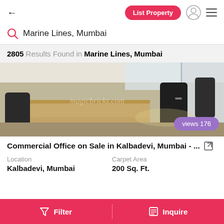← List Property [user icon] ☰
Marine Lines, Mumbai
2805 Results Found in Marine Lines, Mumbai
[Figure (photo): Interior of a commercial office space showing a wooden conference table, office chairs, glass partition walls, and a window. Watermark 'magicbricks.com' visible. Views badge shows 'views 176'.]
Commercial Office on Sale in Kalbadevi, Mumbai - ...
Location
Kalbadevi, Mumbai
Carpet Area
200 Sq. Ft.
Filter    Inquire